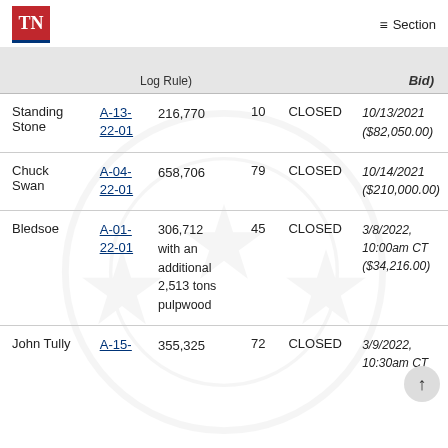TN  ≡ Section
|  | Log Rule) |  |  |  | Bid) |
| --- | --- | --- | --- | --- | --- |
| Standing Stone | A-13-22-01 | 216,770 | 10 | CLOSED | 10/13/2021 ($82,050.00) |
| Chuck Swan | A-04-22-01 | 658,706 | 79 | CLOSED | 10/14/2021 ($210,000.00) |
| Bledsoe | A-01-22-01 | 306,712 with an additional 2,513 tons pulpwood | 45 | CLOSED | 3/8/2022, 10:00am CT ($34,216.00) |
| John Tully | A-15- | 355,325 | 72 | CLOSED | 3/9/2022, 10:30am CT |